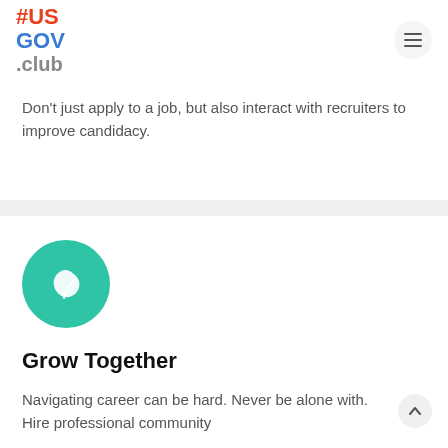#USGOV.club
Don't just apply to a job, but also interact with recruiters to improve candidacy.
[Figure (illustration): Teal/green circle icon with a leaf symbol inside]
Grow Together
Navigating career can be hard. Never be alone with. Hire professional community